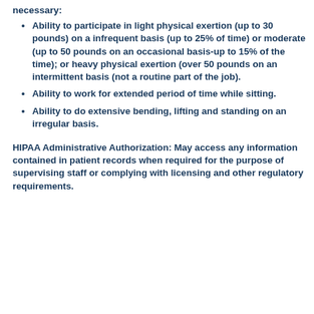necessary:
Ability to participate in light physical exertion (up to 30 pounds) on a infrequent basis (up to 25% of time) or moderate (up to 50 pounds on an occasional basis-up to 15% of the time); or heavy physical exertion (over 50 pounds on an intermittent basis (not a routine part of the job).
Ability to work for extended period of time while sitting.
Ability to do extensive bending, lifting and standing on an irregular basis.
HIPAA Administrative Authorization: May access any information contained in patient records when required for the purpose of supervising staff or complying with licensing and other regulatory requirements.